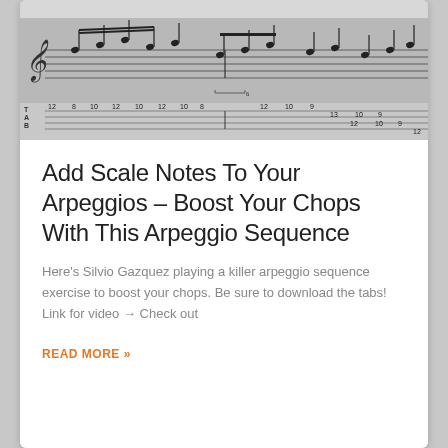[Figure (illustration): Guitar tablature and music notation sheet showing an arpeggio sequence exercise. The image shows standard musical staff notation on top with notes and a guitar tablature (TAB) below with numbers indicating fret positions (12, 8, 10, 12, 10, 12, 10, 8, etc.) on strings labeled T, A, B.]
Add Scale Notes To Your Arpeggios – Boost Your Chops With This Arpeggio Sequence
Here's Silvio Gazquez playing a killer arpeggio sequence exercise to boost your chops. Be sure to download the tabs! Link for video → Check out
READ MORE »